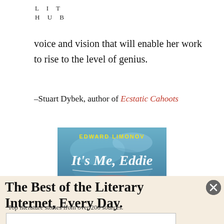LIT
HUB
voice and vision that will enable her work to rise to the level of genius.
–Stuart Dybek, author of Ecstatic Cahoots
[Figure (photo): Book cover for 'It's Me, Eddie' by Edward Limonov, featuring blue and red imagery with stylized cursive title text]
The Best of the Literary Internet, Every Day.
Top literature stories from over 200 sources.
[Figure (other): Email input field and Subscribe button for newsletter signup]